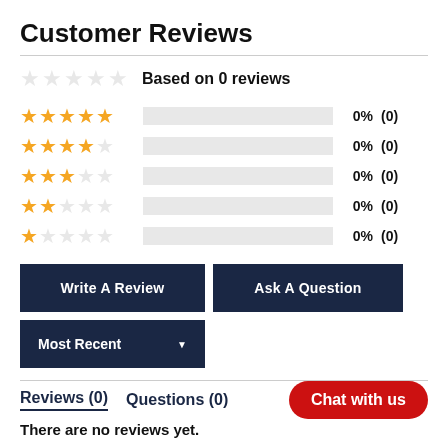Customer Reviews
Based on 0 reviews
| Stars | Bar | Percent | Count |
| --- | --- | --- | --- |
| 5 stars |  | 0% | (0) |
| 4 stars |  | 0% | (0) |
| 3 stars |  | 0% | (0) |
| 2 stars |  | 0% | (0) |
| 1 star |  | 0% | (0) |
Write A Review
Ask A Question
Most Recent
Reviews (0)   Questions (0)
Chat with us
There are no reviews yet.